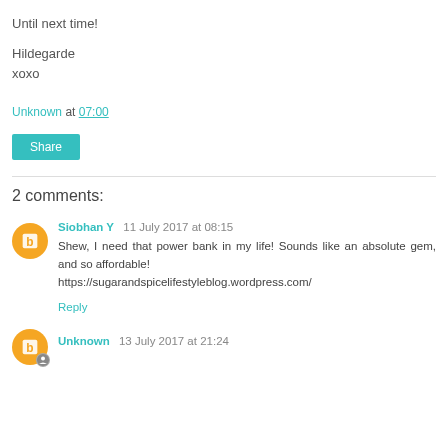Until next time!
Hildegarde
xoxo
Unknown at 07:00
Share
2 comments:
Siobhan Y  11 July 2017 at 08:15
Shew, I need that power bank in my life! Sounds like an absolute gem, and so affordable!
https://sugarandspicelifestyleblog.wordpress.com/
Reply
Unknown  13 July 2017 at 21:24